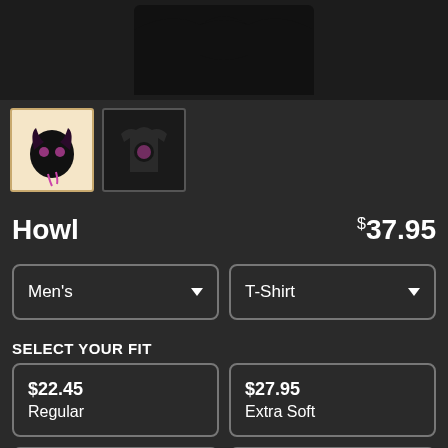[Figure (photo): Product listing page for a t-shirt called Howl. Top section shows a dark background product image area. Two thumbnail images below: first thumbnail shows a creature/wolf head illustration on cream/beige background, second thumbnail shows the design on a black t-shirt.]
Howl
$37.95
Men's
T-Shirt
SELECT YOUR FIT
$22.45 Regular
$27.95 Extra Soft